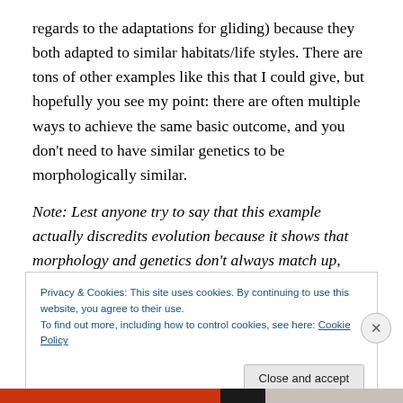regards to the adaptations for gliding) because they both adapted to similar habitats/life styles. There are tons of other examples like this that I could give, but hopefully you see my point: there are often multiple ways to achieve the same basic outcome, and you don't need to have similar genetics to be morphologically similar.
Note: Lest anyone try to say that this example actually discredits evolution because it shows that morphology and genetics don't always match up, there are other traits that distinguished them long before genetics (e.g., the pouch),
Privacy & Cookies: This site uses cookies. By continuing to use this website, you agree to their use.
To find out more, including how to control cookies, see here: Cookie Policy